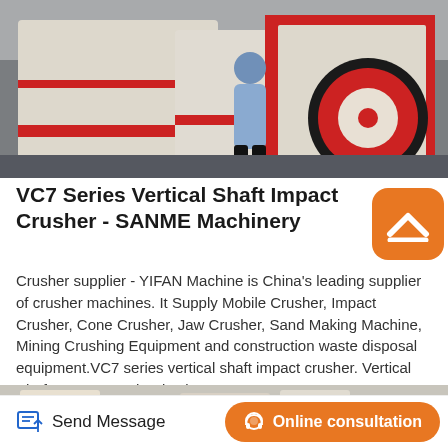[Figure (photo): Industrial impact crusher machines in a warehouse, with a person in a blue jacket standing next to them. Machines are cream/white colored with red accents and a large black and red flywheel visible on the right.]
VC7 Series Vertical Shaft Impact Crusher - SANME Machinery
Crusher supplier - YIFAN Machine is China's leading supplier of crusher machines. It Supply Mobile Crusher, Impact Crusher, Cone Crusher, Jaw Crusher, Sand Making Machine, Mining Crushing Equipment and construction waste disposal equipment.VC7 series vertical shaft impact crusher. Vertical Shaft Impact Crusher is also…
[Figure (photo): Partial view of industrial machinery, showing white and orange colored crushing equipment components.]
Send Message
Online consultation